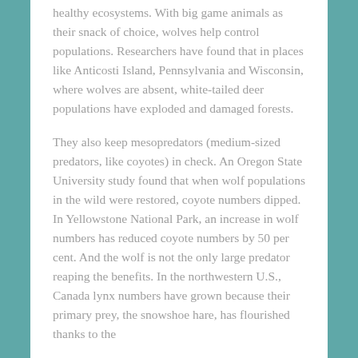healthy ecosystems. With big game animals as their snack of choice, wolves help control populations. Researchers have found that in places like Anticosti Island, Pennsylvania and Wisconsin, where wolves are absent, white-tailed deer populations have exploded and damaged forests.
They also keep mesopredators (medium-sized predators, like coyotes) in check. An Oregon State University study found that when wolf populations in the wild were restored, coyote numbers dipped. In Yellowstone National Park, an increase in wolf numbers has reduced coyote numbers by 50 per cent. And the wolf is not the only large predator reaping the benefits. In the northwestern U.S., Canada lynx numbers have grown because their primary prey, the snowshoe hare, has flourished thanks to the